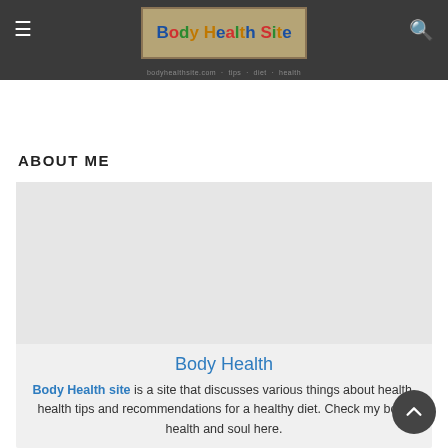Body Health Site — navigation header with hamburger menu and search icon
ABOUT ME
[Figure (screenshot): Gray card placeholder image area — blank light gray rectangle inside the About Me card]
Body Health
Body Health site is a site that discusses various things about health, health tips and recommendations for a healthy diet. Check my body health and soul here.